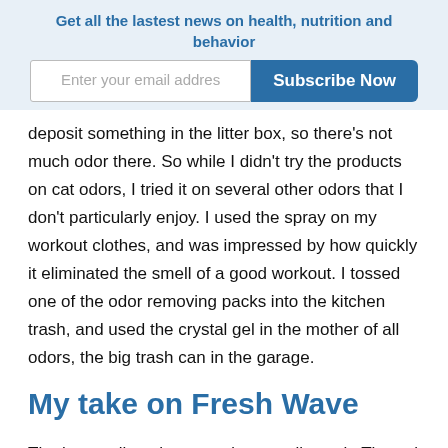Get all the lastest news on health, nutrition and behavior
deposit something in the litter box, so there’s not much odor there. So while I didn’t try the products on cat odors, I tried it on several other odors that I don’t particularly enjoy. I used the spray on my workout clothes, and was impressed by how quickly it eliminated the smell of a good workout. I tossed one of the odor removing packs into the kitchen trash, and used the crystal gel in the mother of all odors, the big trash can in the garage.
My take on Fresh Wave
The bottom line: these products really work. The gel eliminated any smell from the trash can in the garage, whic’